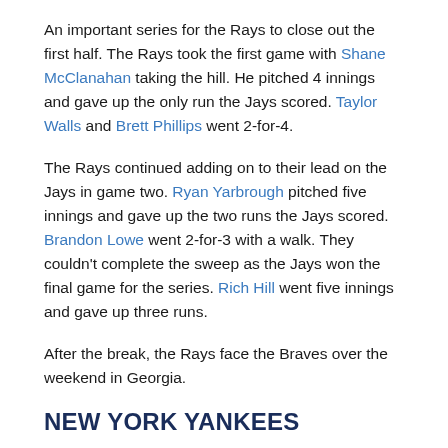An important series for the Rays to close out the first half. The Rays took the first game with Shane McClanahan taking the hill. He pitched 4 innings and gave up the only run the Jays scored. Taylor Walls and Brett Phillips went 2-for-4.
The Rays continued adding on to their lead on the Jays in game two. Ryan Yarbrough pitched five innings and gave up the two runs the Jays scored. Brandon Lowe went 2-for-3 with a walk. They couldn't complete the sweep as the Jays won the final game for the series. Rich Hill went five innings and gave up three runs.
After the break, the Rays face the Braves over the weekend in Georgia.
NEW YORK YANKEES
After taking two of three against the Mariners, the